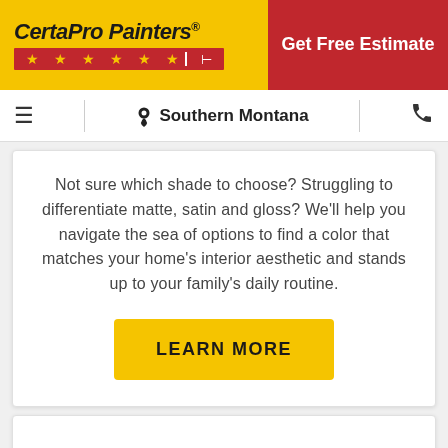CertaPro Painters®
Get Free Estimate
Southern Montana
Not sure which shade to choose? Struggling to differentiate matte, satin and gloss? We'll help you navigate the sea of options to find a color that matches your home's interior aesthetic and stands up to your family's daily routine.
LEARN MORE